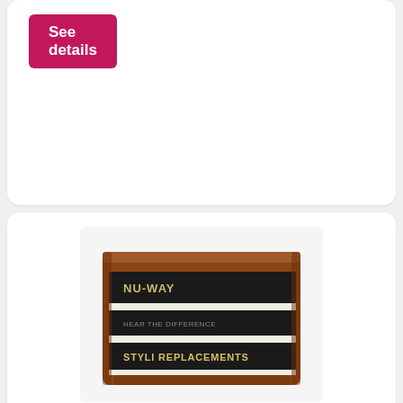See details
[Figure (photo): A vintage wooden display cabinet with horizontal black slat shelves. Text on cabinet reads 'NU-WAY', 'HEAR THE DIFFERENCE', and 'STYLI REPLACEMENTS'.]
Nu-way styli stylus replacement cabinet Vtg shop f
Nu-way styli stylus replacement cabinet vtg shop.
BARGOED